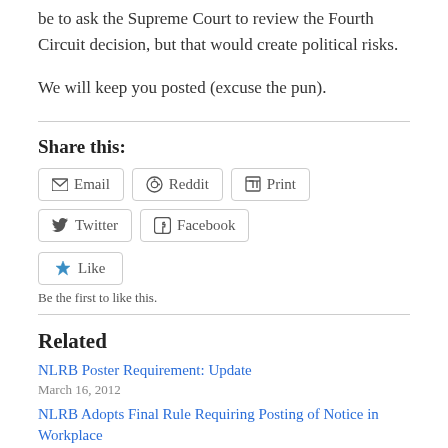be to ask the Supreme Court to review the Fourth Circuit decision, but that would create political risks.
We will keep you posted (excuse the pun).
Share this:
Email  Reddit  Print  Twitter  Facebook
Like
Be the first to like this.
Related
NLRB Poster Requirement: Update
March 16, 2012
NLRB Adopts Final Rule Requiring Posting of Notice in Workplace